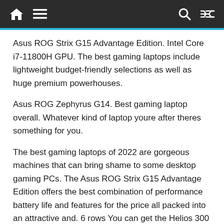Navigation bar with home, menu, search, and shuffle icons
Asus ROG Strix G15 Advantage Edition. Intel Core i7-11800H GPU. The best gaming laptops include lightweight budget-friendly selections as well as huge premium powerhouses.
Asus ROG Zephyrus G14. Best gaming laptop overall. Whatever kind of laptop youre after theres something for you.
The best gaming laptops of 2022 are gorgeous machines that can bring shame to some desktop gaming PCs. The Asus ROG Strix G15 Advantage Edition offers the best combination of performance battery life and features for the price all packed into an attractive and. 6 rows You can get the Helios 300 in 156-inch and 173-inch configurations starting at